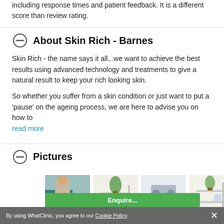including response times and patient feedback. It is a different score than review rating.
About Skin Rich - Barnes
Skin Rich - the name says it all...we want to achieve the best results using advanced technology and treatments to give a natural result to keep your rich looking skin.
So whether you suffer from a skin condition or just want to put a 'pause' on the ageing process, we are here to advise you on how to
read more
Pictures
[Figure (photo): Four thumbnail photos of a beauty/skin clinic interior showing treatment chairs, shelving with plants, and equipment]
By using WhatClinic, you agree to our Cookie Policy. ×